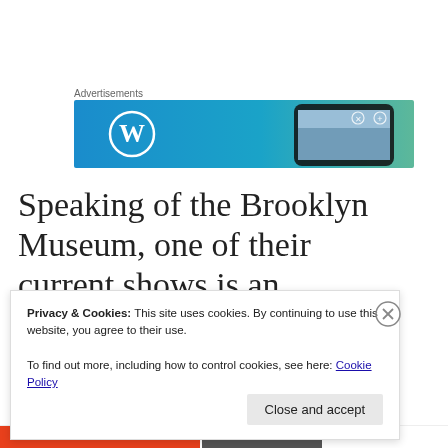Advertisements
[Figure (screenshot): WordPress advertisement banner showing the WordPress logo (W in a circle) on a blue-to-teal gradient background with a smartphone image on the right]
Speaking of the Brooklyn Museum, one of their current shows is an exhibition we saw during its first
Privacy & Cookies: This site uses cookies. By continuing to use this website, you agree to their use.
To find out more, including how to control cookies, see here: Cookie Policy
Close and accept